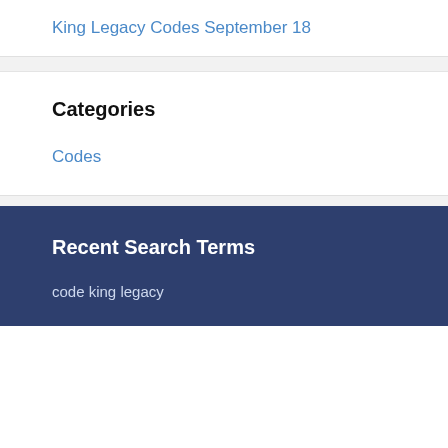King Legacy Codes September 18
Categories
Codes
Recent Search Terms
code king legacy